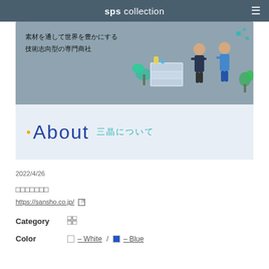sps collection
[Figure (illustration): Company website banner showing Japanese text '素材を通して世界を豊かにする 技術志向型の専門商社' with office illustration of two business people and laboratory equipment, and an 'About 三晶について' section below on a light blue background]
2022/4/26
□□□□□□□
https://sansho.co.jp/
Category
Color  □ – White / □ – Blue